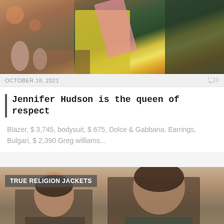[Figure (photo): Top portion of a fashion photo showing a person in colorful clothing including a yellow blazer and pink scarf, in an interior setting]
OCTOBER 18, 2021    0
Jennifer Hudson is the queen of respect
Blazer, $ 3,745, bodysuit, $ 675, Dolce & Gabbana. Earrings, Bulgari, $ 2,390 Greg williams...
[Figure (photo): Two actors from Dune movie — Zendaya and Timothée Chalamet in costume, with a label overlay reading TRUE RELIGION JACKETS]